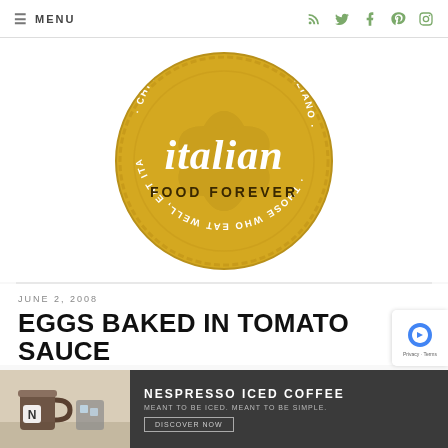≡ MENU
[Figure (logo): Italian Food Forever circular gold badge logo with text: italian FOOD FOREVER, CHI MANGIA BENE, MANGIA ITALIANO, THOSE WHO EAT WELL, EAT ITALIAN]
JUNE 2, 2008
EGGS BAKED IN TOMATO SAUCE
[Figure (photo): Nespresso Iced Coffee advertisement with coffee image, text: NESPRESSO ICED COFFEE, MEANT TO BE ICED. MEANT TO BE SIMPLE., DISCOVER NOW]